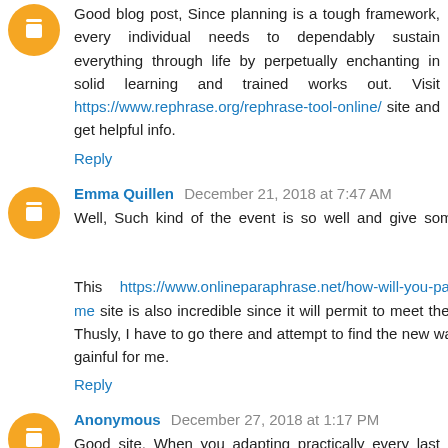Good blog post, Since planning is a tough framework, every individual needs to dependably sustain everything through life by perpetually enchanting in solid learning and trained works out. Visit https://www.rephrase.org/rephrase-tool-online/ site and get helpful info.
Reply
Emma Quillen  December 21, 2018 at 7:47 AM
Well, Such kind of the event is so well and give something novel information. This https://www.onlineparaphrase.net/how-will-you-paraphrase-for-me site is also incredible since it will permit to meet the new people. Thusly, I have to go there and attempt to find the new ways which are gainful for me.
Reply
Anonymous  December 27, 2018 at 1:17 PM
Good site, When you adapting practically every last one of